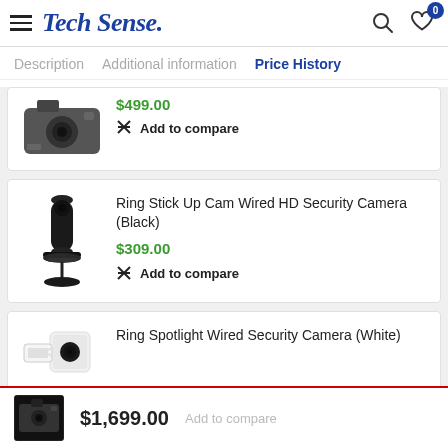Tech Sense.
Description  Additional information  Price History
$499.00
Add to compare
Ring Stick Up Cam Wired HD Security Camera (Black)
$309.00
Add to compare
Ring Spotlight Wired Security Camera (White)
$1,699.00  Add to compare